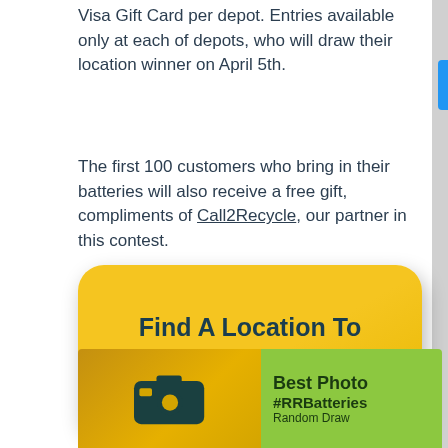Visa Gift Card per depot. Entries available only at each of depots, who will draw their location winner on April 5th.
The first 100 customers who bring in their batteries will also receive a free gift, compliments of Call2Recycle, our partner in this contest.
[Figure (infographic): Yellow rounded rectangle button with dark teal text reading 'Find A Location To ENTER NOW!']
[Figure (infographic): Bottom image with camera/battery icon on yellow-orange background on the left, and green section on the right with text 'Best Photo #RRBatteries Random Draw']